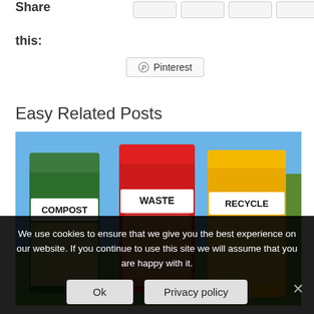Share this:
[Figure (screenshot): Pinterest share button with Pinterest logo icon and text 'Pinterest']
Easy Related Posts
[Figure (photo): Three colored wheelie bins labeled COMPOST (green), WASTE (red), RECYCLE (yellow) outdoors on grass with blue sky]
We use cookies to ensure that we give you the best experience on our website. If you continue to use this site we will assume that you are happy with it.